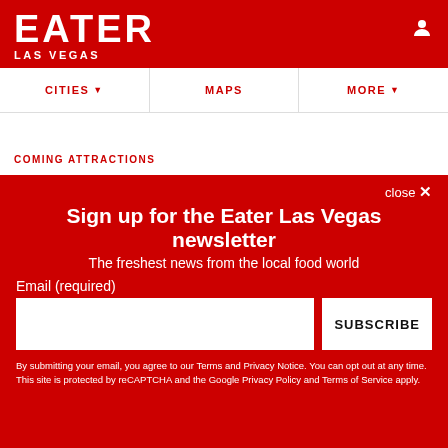EATER LAS VEGAS
CITIES ▾   MAPS   MORE ▾
COMING ATTRACTIONS
close ×
Sign up for the Eater Las Vegas newsletter
The freshest news from the local food world
Email (required)
SUBSCRIBE
By submitting your email, you agree to our Terms and Privacy Notice. You can opt out at any time. This site is protected by reCAPTCHA and the Google Privacy Policy and Terms of Service apply.